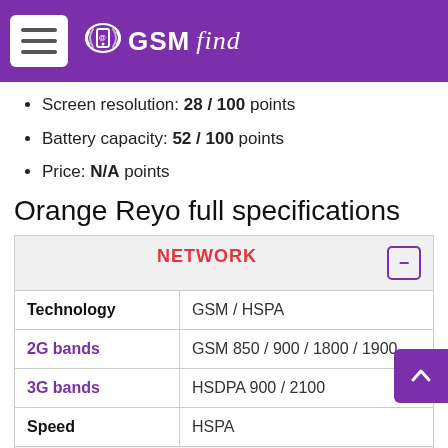GSMfind
Screen resolution: 28 / 100 points
Battery capacity: 52 / 100 points
Price: N/A points
Orange Reyo full specifications
|  |  |
| --- | --- |
| NETWORK |  |
| Technology | GSM / HSPA |
| 2G bands | GSM 850 / 900 / 1800 / 1900 |
| 3G bands | HSDPA 900 / 2100 |
| Speed | HSPA |
| LAUNCH |  |
| Announced | 2014, February. Released 2014 |